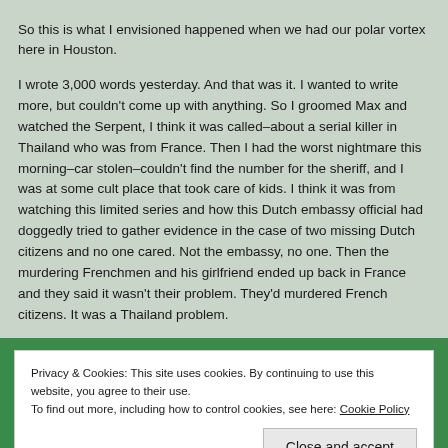So this is what I envisioned happened when we had our polar vortex here in Houston.

I wrote 3,000 words yesterday. And that was it. I wanted to write more, but couldn't come up with anything. So I groomed Max and watched the Serpent, I think it was called–about a serial killer in Thailand who was from France. Then I had the worst nightmare this morning–car stolen–couldn't find the number for the sheriff, and I was at some cult place that took care of kids. I think it was from watching this limited series and how this Dutch embassy official had doggedly tried to gather evidence in the case of two missing Dutch citizens and no one cared. Not the embassy, no one. Then the murdering Frenchmen and his girlfriend ended up back in France and they said it wasn't their problem. They'd murdered French citizens. It was a Thailand problem.
Cookies policy
Privacy & Cookies: This site uses cookies. By continuing to use this website, you agree to their use.
To find out more, including how to control cookies, see here: Cookie Policy